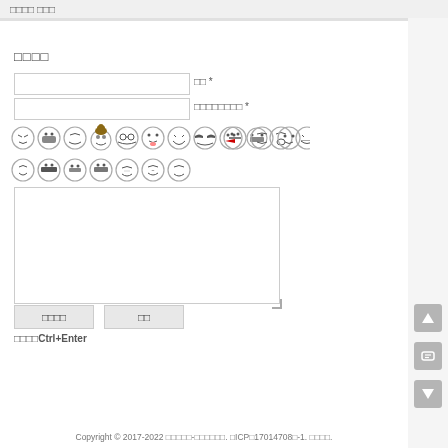□□□□ □□□
□□□□
□□ *
□□□□□□□□ *
[Figure (illustration): A row of emoji/emoticon face icons for comment input]
□□□□Ctrl+Enter
Copyright © 2017-2022 □□□□□-□□□□□□. □ICP□17014708□-1. □□□□.